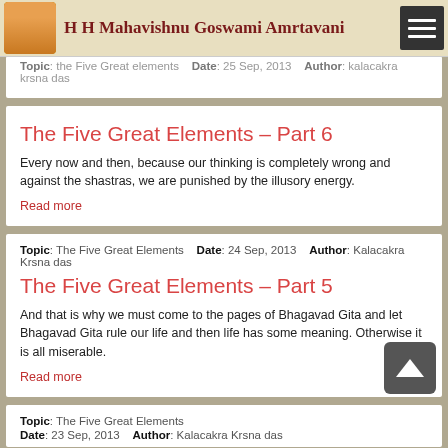H H Mahavishnu Goswami Amrtavani
Topic: the Five Great elements  Date: 25 Sep, 2013  Author: kalacakra krsna das
The Five Great Elements - Part 6
Every now and then, because our thinking is completely wrong and against the shastras, we are punished by the illusory energy.
Read more
Topic: The Five Great Elements  Date: 24 Sep, 2013  Author: Kalacakra Krsna das
The Five Great Elements - Part 5
And that is why we must come to the pages of Bhagavad Gita and let Bhagavad Gita rule our life and then life has some meaning. Otherwise it is all miserable.
Read more
Topic: The Five Great Elements  Date: 23 Sep, 2013  Author: Kalacakra Krsna das